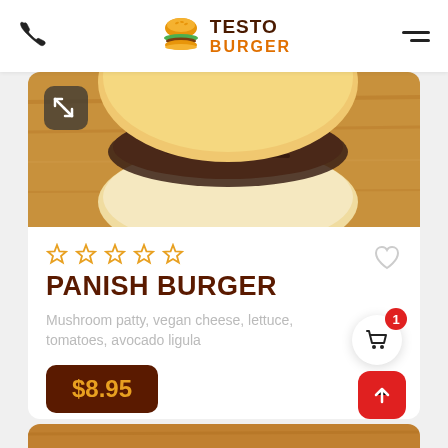Testo Burger — app header with phone icon and menu icon
[Figure (photo): Close-up photo of a burger bun on a wooden surface, partially visible from the top portion]
PANISH BURGER
Mushroom patty, vegan cheese, lettuce, tomatoes, avocado ligula
$8.95